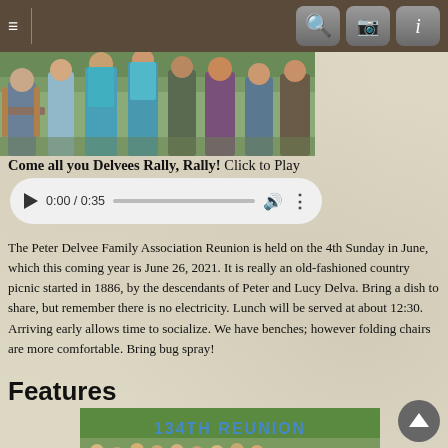Navigation bar with hamburger menu, search, camera, and info buttons
[Figure (photo): Group of people outdoors at a family reunion, cropped to show torsos and legs]
Come all you Delvees Rally, Rally! Click to Play
[Figure (other): Audio player showing 0:00 / 0:35 with play button, progress bar, volume and more controls]
The Peter Delvee Family Association Reunion is held on the 4th Sunday in June, which this coming year is June 26, 2021. It is really an old-fashioned country picnic started in 1886, by the descendants of Peter and Lucy Delva. Bring a dish to share, but remember there is no electricity. Lunch will be served at about 12:30. Arriving early allows time to socialize. We have benches; however folding chairs are more comfortable. Bring bug spray!
Features
[Figure (photo): 134TH REUNION banner with group photo outdoors under trees]